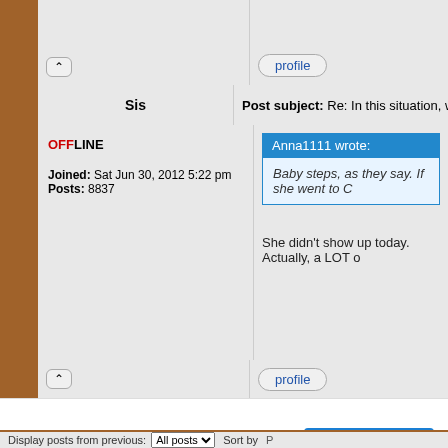[Figure (screenshot): Forum post screenshot showing user 'Sis' who is OFFLINE, joined Sat Jun 30, 2012 5:22 pm, Posts: 8837. Post subject: Re: In this situation, what would you... Quote from Anna1111 wrote: Baby steps, as they say. If she went to C... Reply text: She didn't show up today. Actually, a LOT o... Profile buttons visible. Bottom section shows advertisement for Kynix Semiconductor with GET QUOTE button and a Display posts from previous: All posts Sort by bar.]